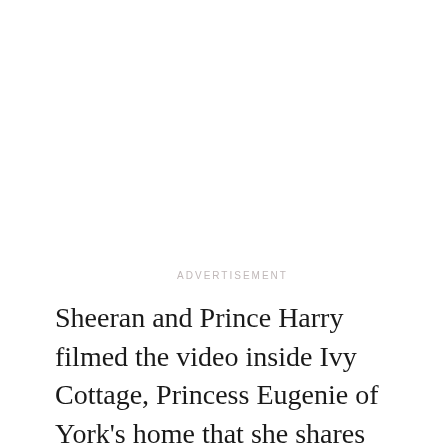ADVERTISEMENT
Sheeran and Prince Harry filmed the video inside Ivy Cottage, Princess Eugenie of York's home that she shares with her husband, Jack Brooksbank, Cosmopolitan learned via Hello! after the British publication recognized the front door from photographs taken by Princess Margaret's husband, Lord Snowden.
For those watching the video who didn't recognize the front door — frankly, probably